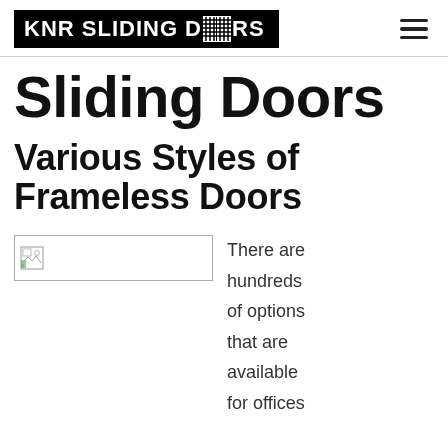KNR SLIDING DOORS
Sliding Doors
Various Styles of Frameless Doors
[Figure (photo): Broken image placeholder thumbnail]
There are hundreds of options that are available for offices